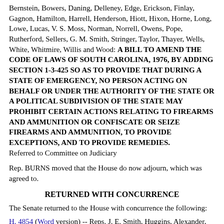Bernstein, Bowers, Daning, Delleney, Edge, Erickson, Finlay, Gagnon, Hamilton, Harrell, Henderson, Hiott, Hixon, Horne, Long, Lowe, Lucas, V. S. Moss, Norman, Norrell, Owens, Pope, Rutherford, Sellers, G. M. Smith, Stringer, Taylor, Thayer, Wells, White, Whitmire, Willis and Wood: A BILL TO AMEND THE CODE OF LAWS OF SOUTH CAROLINA, 1976, BY ADDING SECTION 1-3-425 SO AS TO PROVIDE THAT DURING A STATE OF EMERGENCY, NO PERSON ACTING ON BEHALF OR UNDER THE AUTHORITY OF THE STATE OR A POLITICAL SUBDIVISION OF THE STATE MAY PROHIBIT CERTAIN ACTIONS RELATING TO FIREARMS AND AMMUNITION OR CONFISCATE OR SEIZE FIREARMS AND AMMUNITION, TO PROVIDE EXCEPTIONS, AND TO PROVIDE REMEDIES.
Referred to Committee on Judiciary
Rep. BURNS moved that the House do now adjourn, which was agreed to.
RETURNED WITH CONCURRENCE
The Senate returned to the House with concurrence the following:
H. 4854 (Word version) -- Reps. J. E. Smith, Huggins, Alexander, Allison, Anderson, Anthony, Atwater, Bales, Ballentine, Bannister, Barfield, Bedingfield, Bernstein, Bingham, Bowers, Bra...